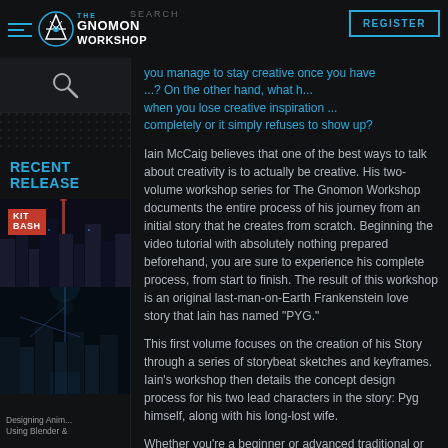SEARCH | The Gnomon Workshop | REGISTER
RECENT RELEASE
[Figure (screenshot): Sidebar thumbnail showing KIT BASH neon sign in a dark urban sci-fi scene and a dark atmospheric city environment below]
Designing Anim... Using Blender &
you manage to stay creative once you have ...? On the other hand, what h... when you lose creative inspiration ... completely or it simply refuses to show up?
Iain McCaig believes that one of the best ways to talk about creativity is to actually be creative. His two-volume workshop series for The Gnomon Workshop documents the entire process of his journey from an initial story that he creates from scratch. Beginning the video tutorial with absolutely nothing prepared beforehand, you are sure to experience his complete process, from start to finish. The result of this workshop is an original last-man-on-Earth Frankenstein love story that Iain has named "PYG."
This first volume focuses on the creation of his Story through a series of storybeat sketches and keyframes. Iain's workshop then details the concept design process for his two lead characters in the story: Pyg himself, along with his long-lost wife.
Whether you're a beginner or advanced traditional or digital artist, you'll benefit from this insightful "peek behind the curtains" at